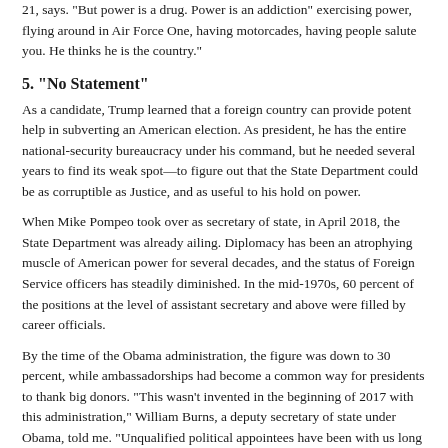21, says. "But power is a drug. Power is an addiction" exercising power, flying around in Air Force One, having motorcades, having people salute you. He thinks he is the country."
5. “No Statement”
As a candidate, Trump learned that a foreign country can provide potent help in subverting an American election. As president, he has the entire national-security bureaucracy under his command, but he needed several years to find its weak spot—to figure out that the State Department could be as corruptible as Justice, and as useful to his hold on power.
When Mike Pompeo took over as secretary of state, in April 2018, the State Department was already ailing. Diplomacy has been an atrophying muscle of American power for several decades, and the status of Foreign Service officers has steadily diminished. In the mid-1970s, 60 percent of the positions at the level of assistant secretary and above were filled by career officials.
By the time of the Obama administration, the figure was down to 30 percent, while ambassadorships had become a common way for presidents to thank big donors. “This wasn’t invented in the beginning of 2017 with this administration,” William Burns, a deputy secretary of state under Obama, told me. “Unqualified political appointees have been with us long before Donald Trump. As in so many areas, what he’s done is accelerated that problem and made it a lot worse.”
Rex Tillerson, Trump’s first secretary of state, bled the department dry. To purge it of bloat, he tried to gut the budget, froze hiring, and pushed out a large cadre of senior diplomats. Offices and hallways in the headquarters on C Street grew deserted. When Pompeo became secretary, he promised to restore “swagger” to diplomacy. He ended the hiring freeze, promoted career officials, and began to fill empty positions at the top—but he brought in mostly political appointees. According to Ronald Neumann, a retired